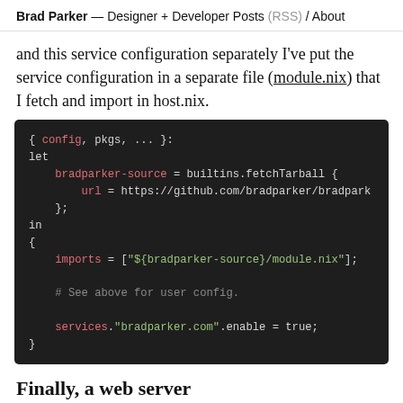Brad Parker — Designer + Developer Posts (RSS) / About
and this service configuration separately I've put the service configuration in a separate file (module.nix) that I fetch and import in host.nix.
[Figure (screenshot): Code block showing Nix configuration: { config, pkgs, ... }: let bradparker-source = builtins.fetchTarball { url = https://github.com/bradparker/bradpark... }; in { imports = ["${bradparker-source}/module.nix"]; # See above for user config. services."bradparker.com".enable = true; }]
Finally, a web server